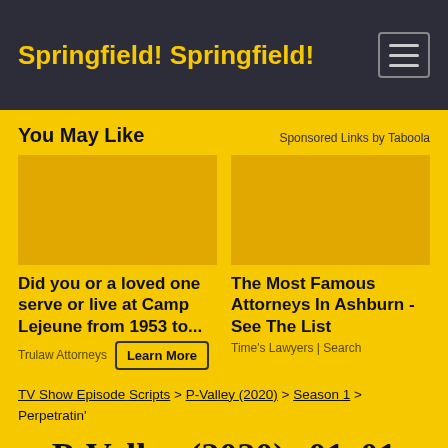Springfield! Springfield!
You May Like
Sponsored Links by Taboola
[Figure (other): Advertisement placeholder image for Camp Lejeune legal ad]
Did you or a loved one serve or live at Camp Lejeune from 1953 to...
Trulaw Attorneys
Learn More
[Figure (other): Advertisement placeholder image for attorneys in Ashburn]
The Most Famous Attorneys In Ashburn - See The List
Time's Lawyers | Search
TV Show Episode Scripts > P-Valley (2020) > Season 1 > Perpetratin'
P-Valley (2020) s01e01